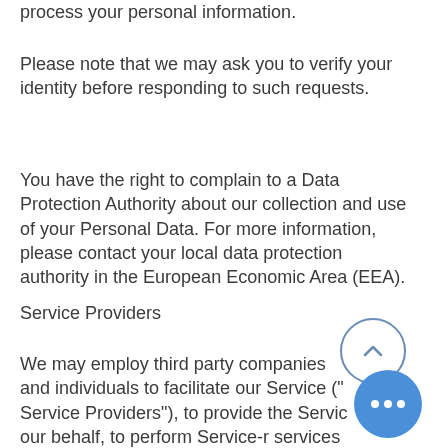process your personal information.
Please note that we may ask you to verify your identity before responding to such requests.
You have the right to complain to a Data Protection Authority about our collection and use of your Personal Data. For more information, please contact your local data protection authority in the European Economic Area (EEA).
Service Providers
We may employ third party companies and individuals to facilitate our Service ("Service Providers"), to provide the Service on our behalf, to perform Service-related services or to assist us in analyzing how our Service is used.